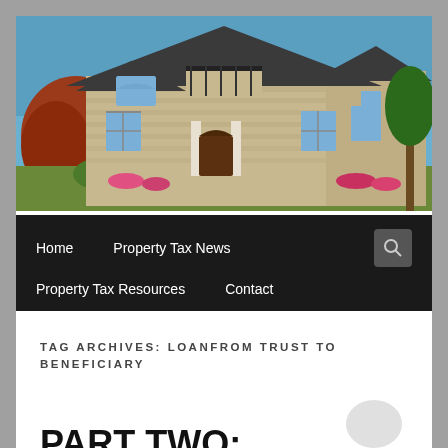[Figure (photo): Exterior photo of a large stone residential house with dark roof, balcony, arched windows, and landscaping with trees and flowers]
Home   Property Tax News   Property Tax Resources   Contact
TAG ARCHIVES: LOANFROM TRUST TO BENEFICIARY
PART TWO:
Why is